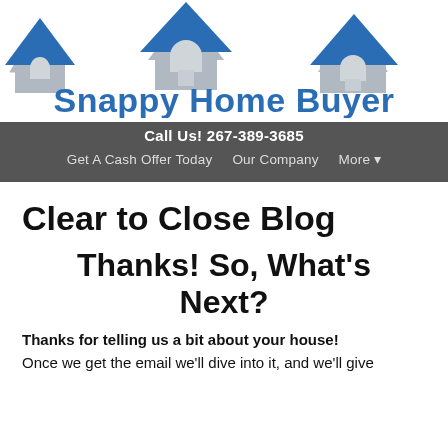[Figure (logo): Snappy Home Buyer logo with blue and grey house rooftops illustration and blue bold text 'Snappy Home Buyer']
Call Us! 267-389-3685  Get A Cash Offer Today  Our Company  More ▾
Clear to Close Blog
Thanks! So, What's Next?
Thanks for telling us a bit about your house!
Once we get the email we'll dive into it, and we'll give